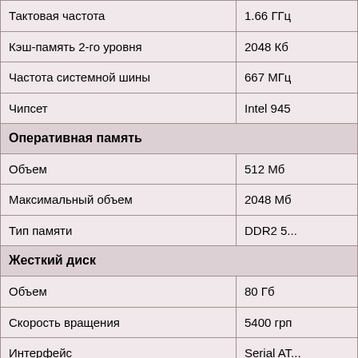| Параметр | Значение |
| --- | --- |
| Тактовая частота | 1.66 ГГц |
| Кэш-память 2-го уровня | 2048 Кб |
| Частота системной шины | 667 МГц |
| Чипсет | Intel 945 |
| Оперативная память |  |
| Объем | 512 Мб |
| Максимальный объем | 2048 Мб |
| Тип памяти | DDR2 5... |
| Жесткий диск |  |
| Объем | 80 Гб |
| Скорость вращения | 5400 грп |
| Интерфейс | Serial AT... |
| Оптический привод |  |
| Тип | DVD-RW |
| Подключение | фиксиро... |
| Дисплей |  |